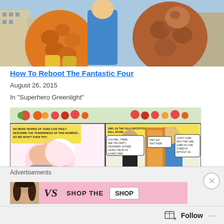[Figure (illustration): Comic book art showing The Thing (orange rocky figure) in blue suit and another large humanoid reddish figure against a city background — top portion of Fantastic Four comic panel]
How To Reboot The Fantastic Four
August 26, 2015
In "Superhero Greenlight"
[Figure (illustration): Comic book panels: left panel shows two characters kissing with speech bubble 'No mere words of ours can truly describe the tenderness of this moment... so we won't even try!'; right panel shows a ballroom scene with characters at a door and speech bubbles about party crashers and an order not to let anyone in without an invite]
Advertisements
[Figure (illustration): Advertisement banner with a woman's face on pink background showing 'VS' logo, 'SHOP THE' text and a 'SHOP' button]